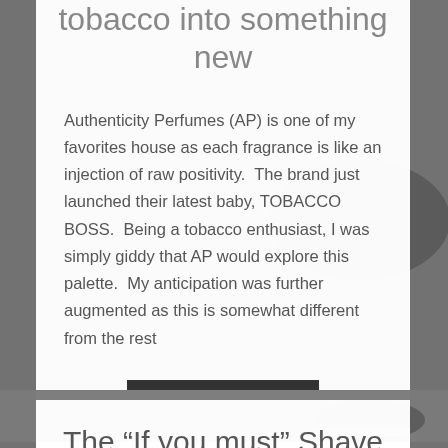tobacco into something new
Authenticity Perfumes (AP) is one of my favorites house as each fragrance is like an injection of raw positivity.  The brand just launched their latest baby, TOBACCO BOSS.  Being a tobacco enthusiast, I was simply giddy that AP would explore this palette.  My anticipation was further augmented as this is somewhat different from the rest
Read more
The “If you must” Shave Soap by Sussex Board